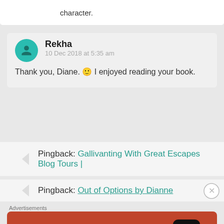character.
Rekha
10 Dec 2018 at 5:35 am
Thank you, Diane. 🙂 I enjoyed reading your book.
Pingback: Gallivanting With Great Escapes Blog Tours |
Pingback: Out of Options by Dianne
Advertisements
[Figure (screenshot): DuckDuckGo advertisement banner: orange/red background with phone mockup, text 'Search, browse, and email with more privacy. All in One Free App', DuckDuckGo logo on phone]